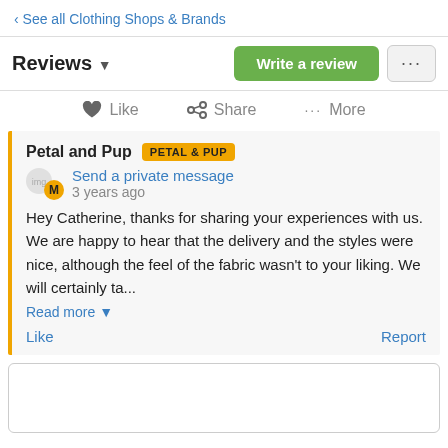‹ See all Clothing Shops & Brands
Reviews
Write a review
Like  Share  More
Petal and Pup PETAL & PUP
Send a private message
3 years ago
Hey Catherine, thanks for sharing your experiences with us. We are happy to hear that the delivery and the styles were nice, although the feel of the fabric wasn't to your liking. We will certainly ta...
Read more
Like
Report